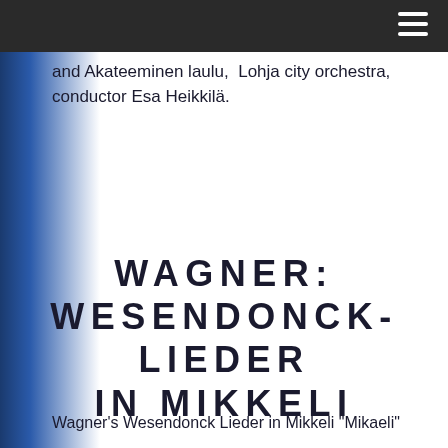and Akateeminen laulu,  Lohja city orchestra, conductor Esa Heikkilä.
WAGNER: WESENDONCK-LIEDER IN MIKKELI
Wagner's Wesendonck Lieder in Mikkeli "Mikaeli"